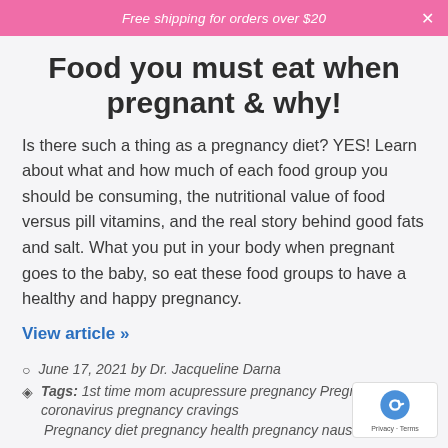Free shipping for orders over $20
Food you must eat when pregnant & why!
Is there such a thing as a pregnancy diet? YES! Learn about what and how much of each food group you should be consuming, the nutritional value of food versus pill vitamins, and the real story behind good fats and salt. What you put in your body when pregnant goes to the baby, so eat these food groups to have a healthy and happy pregnancy.
View article »
June 17, 2021 by Dr. Jacqueline Darna
Tags: 1st time mom acupressure pregnancy Pregnancy and coronavirus pregnancy cravings Pregnancy diet pregnancy health pregnancy nausea